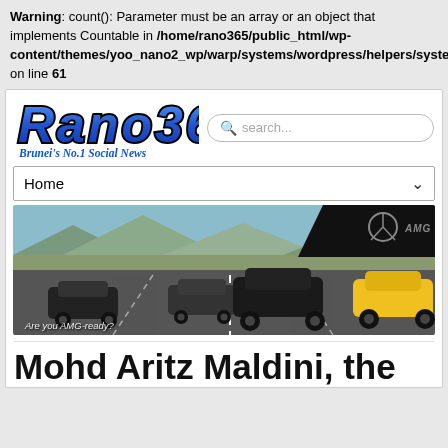Warning: count(): Parameter must be an array or an object that implements Countable in /home/rano365/public_html/wp-content/themes/yoo_nano2_wp/warp/systems/wordpress/helpers/system.php on line 61
[Figure (logo): Rano360 website logo with blue italic bold text and Brunei's No.1 Social News tagline]
[Figure (screenshot): Navigation bar with Home and dropdown arrow]
[Figure (photo): Mercedes-AMG advertisement banner showing multiple AMG cars on a racetrack with text 'Are you AMG-ready?']
Mohd Aritz Maldini, the